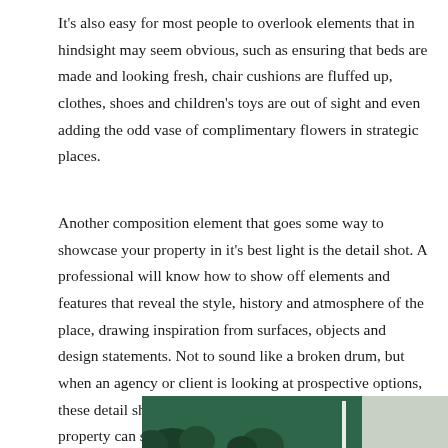It's also easy for most people to overlook elements that in hindsight may seem obvious, such as ensuring that beds are made and looking fresh, chair cushions are fluffed up, clothes, shoes and children's toys are out of sight and even adding the odd vase of complimentary flowers in strategic places.
Another composition element that goes some way to showcase your property in it's best light is the detail shot. A professional will know how to show off elements and features that reveal the style, history and atmosphere of the place, drawing inspiration from surfaces, objects and design statements. Not to sound like a broken drum, but when an agency or client is looking at prospective options, these detail shots that show off the character of your property can sometimes really help.
[Figure (photo): Bottom portion of an interior photo showing a green wall and plants, partially visible at the bottom of the page.]